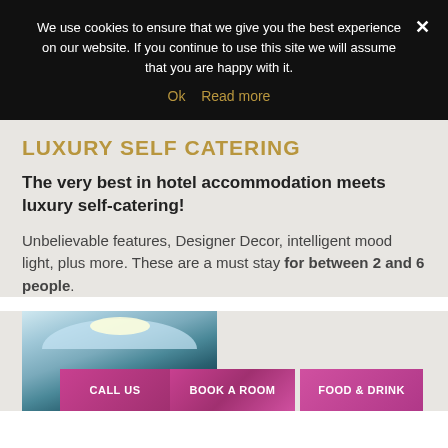We use cookies to ensure that we give you the best experience on our website. If you continue to use this site we will assume that you are happy with it.
Ok   Read more
LUXURY SELF CATERING
The very best in hotel accommodation meets luxury self-catering!
Unbelievable features, Designer Decor, intelligent mood light, plus more. These are a must stay for between 2 and 6 people.
[Figure (photo): Interior photo of a luxury hotel room showing decorative ceiling with mood lighting]
CALL US   BOOK A ROOM   FOOD & DRINK